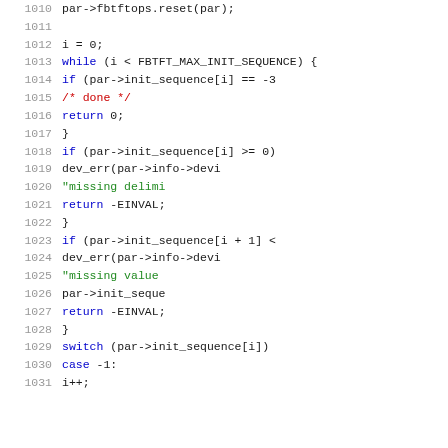[Figure (screenshot): Source code listing showing lines 1010-1031 of a C program using fbtft driver logic. Lines include par->fbtftops.reset(par), a while loop checking FBTFT_MAX_INIT_SEQUENCE, if statements checking init_sequence array values, dev_err calls, return statements, switch/case statements.]